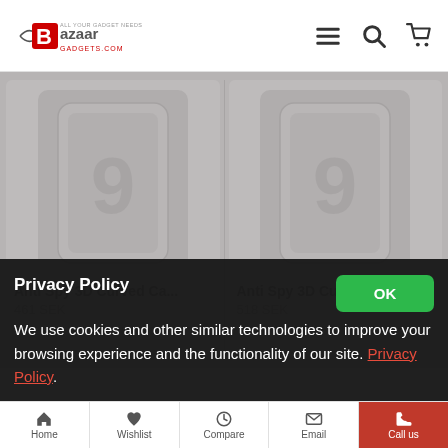Bazaar Gadgets - navigation header with logo, hamburger menu, search, and cart icons
[Figure (photo): Product image: Anti Spy 3D Curved Ca... phone screen protector for Samsung S9, white]
Anti Spy 3D Curved Ca...
461 SEK
[Figure (photo): Product image: Anti Spy 3D Curved Ca... phone screen protector for Samsung S9, white]
Anti Spy 3D Curved Ca...
518 SEK
Privacy Policy
We use cookies and other similar technologies to improve your browsing experience and the functionality of our site. Privacy Policy.
Home | Wishlist | Compare | Email | Call us